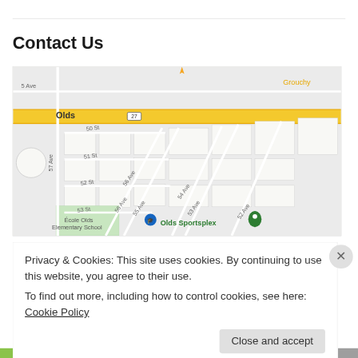Contact Us
[Figure (map): Google Maps screenshot showing Olds, Alberta area with streets labeled 57 Ave, 5 Ave, 50 St, 51 St, 52 St, 53 St, 54 Ave, 55 Ave, 56 Ave, 52 Ave, 53 Ave, 56 Ave. Highway 27 runs east-west through Olds. Shows Ecole Olds Elementary School and Olds Sportsplex markers. Grouchy label visible top right.]
Privacy & Cookies: This site uses cookies. By continuing to use this website, you agree to their use.
To find out more, including how to control cookies, see here: Cookie Policy